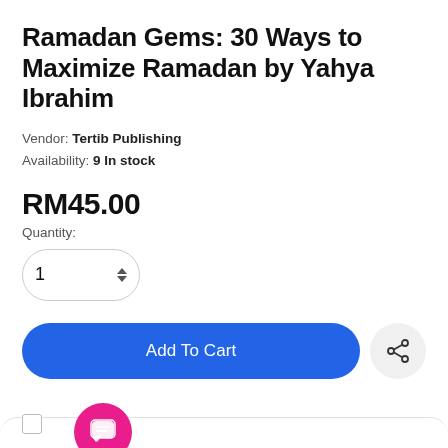Ramadan Gems: 30 Ways to Maximize Ramadan by Yahya Ibrahim
Vendor: Tertib Publishing
Availability: 9 In stock
RM45.00
Quantity:
Add To Cart
I agree with the Terms & conditions